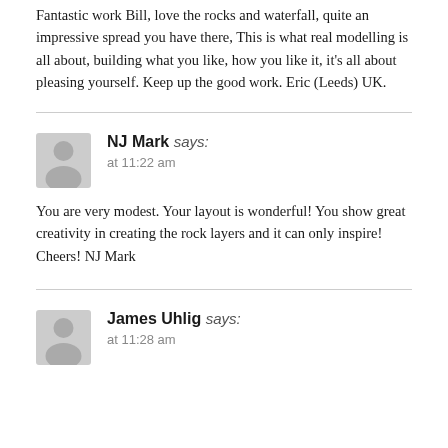Fantastic work Bill, love the rocks and waterfall, quite an impressive spread you have there, This is what real modelling is all about, building what you like, how you like it, it's all about pleasing yourself. Keep up the good work. Eric (Leeds) UK.
NJ Mark says: at 11:22 am
You are very modest. Your layout is wonderful! You show great creativity in creating the rock layers and it can only inspire! Cheers! NJ Mark
James Uhlig says: at 11:28 am